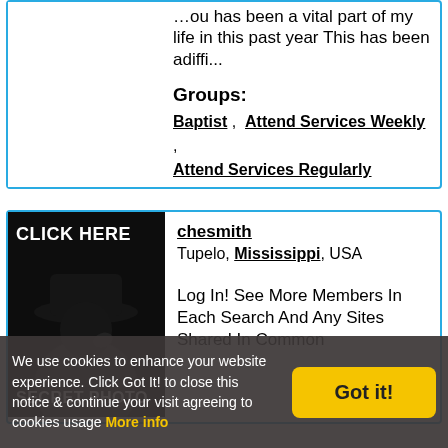…ou has been a vital part of my life in this past year This has been adiffi...
Groups:
Baptist , Attend Services Weekly , Attend Services Regularly
chesmith
Tupelo, Mississippi, USA
[Figure (photo): Secret profile photo placeholder: silhouette of person in hat with CLICK HERE and SECRET PHOTO text overlay]
Log In! See More Members In Each Search And Any Sites Shared In Common
We use cookies to enhance your website experience. Click Got It! to close this notice & continue your visit agreeing to cookies usage More info
Got it!